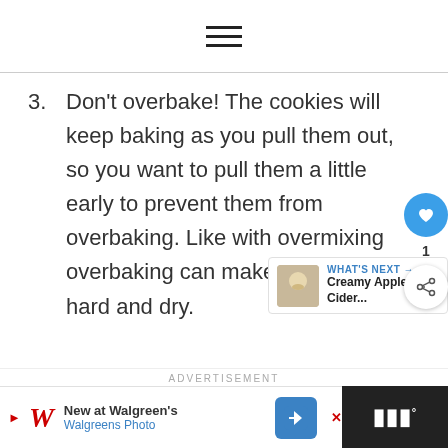☰ (hamburger menu icon)
3. Don't overbake! The cookies will keep baking as you pull them out, so you want to pull them a little early to prevent them from overbaking. Like with overmixing overbaking can make your cooki hard and dry.
WHAT'S NEXT → Creamy Apple Cider...
ADVERTISEMENT
New at Walgreen's Walgreens Photo